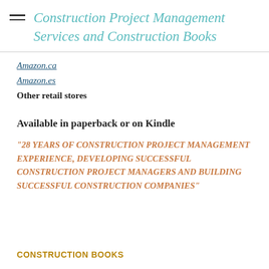Construction Project Management Services and Construction Books
Amazon.ca
Amazon.es
Other retail stores
Available in paperback or on Kindle
"28 YEARS OF CONSTRUCTION PROJECT MANAGEMENT EXPERIENCE, DEVELOPING SUCCESSFUL CONSTRUCTION PROJECT MANAGERS AND BUILDING SUCCESSFUL CONSTRUCTION COMPANIES"
CONSTRUCTION BOOKS